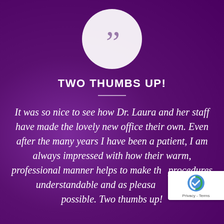[Figure (illustration): White circle with large grey closing double-quotation mark inside, on purple background]
TWO THUMBS UP!
It was so nice to see how Dr. Laura and her staff have made the lovely new office their own. Even after the many years I have been a patient, I am always impressed with how their warm, professional manner helps to make the procedures understandable and as pleasurable as possible. Two thumbs up!